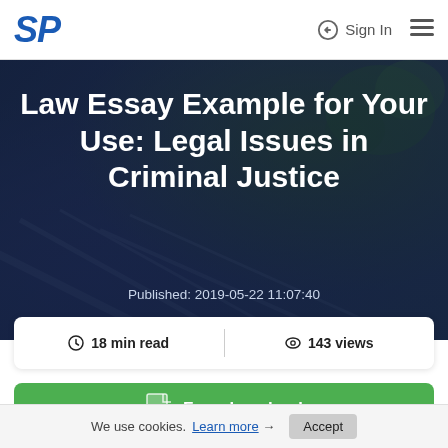SP | Sign In
Law Essay Example for Your Use: Legal Issues in Criminal Justice
Published: 2019-05-22 11:07:40
18 min read | 143 views
Free download
We use cookies. Learn more → Accept